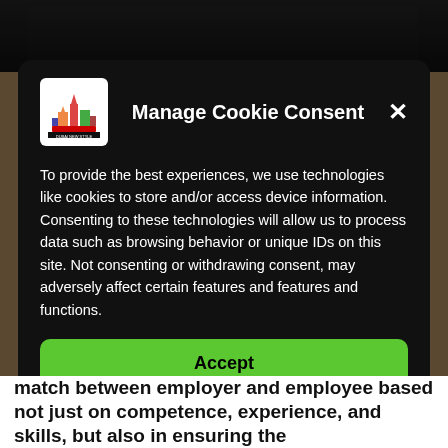[Figure (screenshot): Dark photo strip at top of page showing a building/outdoor scene]
Manage Cookie Consent
[Figure (logo): Dubai New Style logo - colorful building/city icon on white background]
To provide the best experiences, we use technologies like cookies to store and/or access device information. Consenting to these technologies will allow us to process data such as browsing behavior or unique IDs on this site. Not consenting or withdrawing consent, may adversely affect certain features and functions.
Accept
Deny
View preferences
Cookies Policy   Privacy Policy
match between employer and employee based not just on competence, experience, and skills, but also in ensuring the